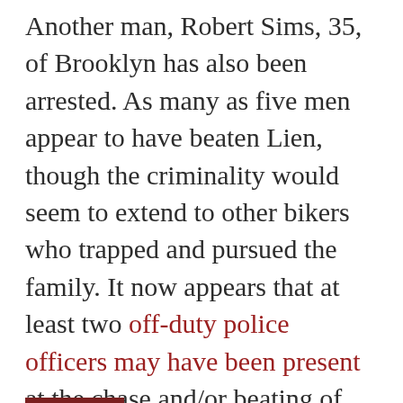Another man, Robert Sims, 35, of Brooklyn has also been arrested. As many as five men appear to have beaten Lien, though the criminality would seem to extend to other bikers who trapped and pursued the family. It now appears that at least two off-duty police officers may have been present at the chase and/or beating of the family and did not immediately intervene or come forward.
The video shows Lien and his wife